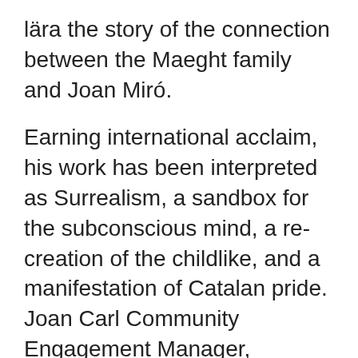lära the story of the connection between the Maeght family and Joan Miró.
Earning international acclaim, his work has been interpreted as Surrealism, a sandbox for the subconscious mind, a re-creation of the childlike, and a manifestation of Catalan pride. Joan Carl Community Engagement Manager, Alzheimer's Association, Hudson Valley Chapter Poughkeepsie Office Community Engagement Manager at Alzheimer's Association, Hudson Valley, NY Chaper Carl church sculptor. 459 likes · 14 talking about this. Wood carving, sculpting, pewter and resin casting EVDI. Jul 1997 – Apr 201113 years 10 months. I have had over 25+ experience in Medical Field front office receptionist, Switchboard, Insurance billing .